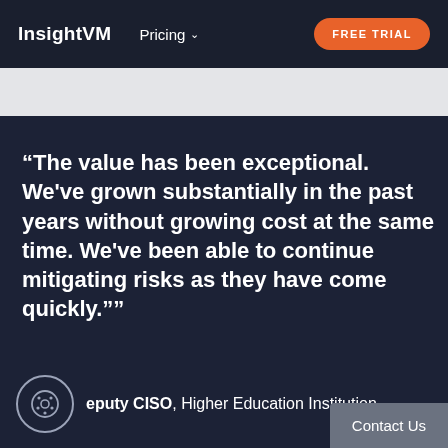InsightVM   Pricing   FREE TRIAL
“The value has been exceptional. We've grown substantially in the past years without growing cost at the same time. We've been able to continue mitigating risks as they have come quickly.""
Deputy CISO, Higher Education Institution
Contact Us